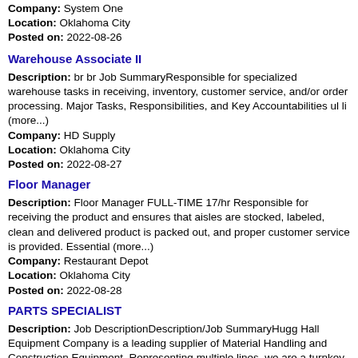Company: System One
Location: Oklahoma City
Posted on: 2022-08-26
Warehouse Associate II
Description: br br Job SummaryResponsible for specialized warehouse tasks in receiving, inventory, customer service, and/or order processing. Major Tasks, Responsibilities, and Key Accountabilities ul li (more...)
Company: HD Supply
Location: Oklahoma City
Posted on: 2022-08-27
Floor Manager
Description: Floor Manager FULL-TIME 17/hr Responsible for receiving the product and ensures that aisles are stocked, labeled, clean and delivered product is packed out, and proper customer service is provided. Essential (more...)
Company: Restaurant Depot
Location: Oklahoma City
Posted on: 2022-08-28
PARTS SPECIALIST
Description: Job DescriptionDescription/Job SummaryHugg Hall Equipment Company is a leading supplier of Material Handling and Construction Equipment. Representing multiple lines, we are a turnkey operation offering (more...)
Company: Hugg & Hall Equipment Co.